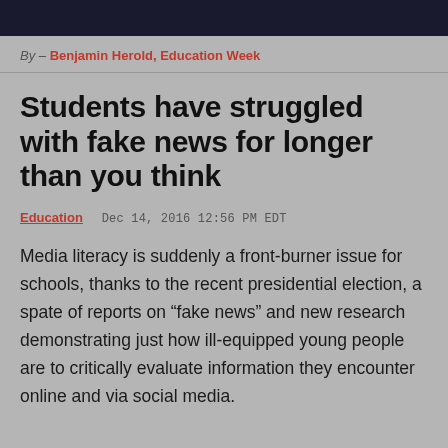By – Benjamin Herold, Education Week
Students have struggled with fake news for longer than you think
Education  Dec 14, 2016 12:56 PM EDT
Media literacy is suddenly a front-burner issue for schools, thanks to the recent presidential election, a spate of reports on “fake news” and new research demonstrating just how ill-equipped young people are to critically evaluate information they encounter online and via social media.